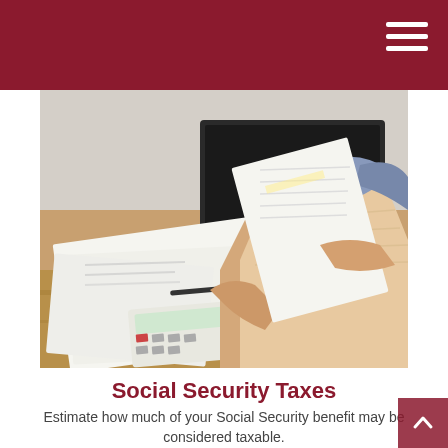[Figure (photo): Two people sitting at a wooden table reviewing tax documents, with a laptop, papers, and a calculator visible. One person wears a beige knit sweater and blue scarf.]
Social Security Taxes
Estimate how much of your Social Security benefit may be considered taxable.